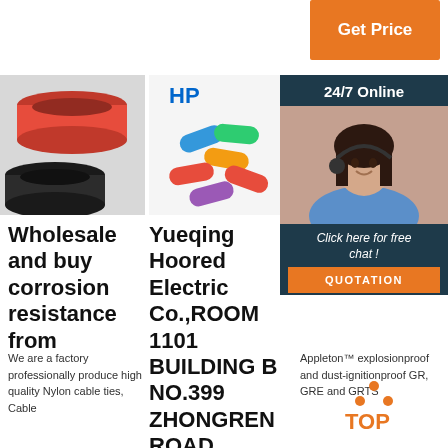[Figure (other): Orange 'Get Price' button]
[Figure (photo): Red and black heat shrink tubing products]
[Figure (photo): Colorful electrical connectors and terminals, HP logo]
[Figure (photo): Yellow and green striped heat shrink tubing]
[Figure (other): 24/7 Online chat overlay with woman wearing headset, Click here for free chat, QUOTATION button]
Wholesale and buy corrosion resistance from
We are a factory professionally produce high quality Nylon cable ties, Cable
Yueqing Hoored Electric Co.,ROOM 1101 BUILDING B NO.399 ZHONGREN ROAD.
GR and Con Outd Boxes
Appleton™ explosionproof and dust-ignitionproof GR, GRE and GRTS